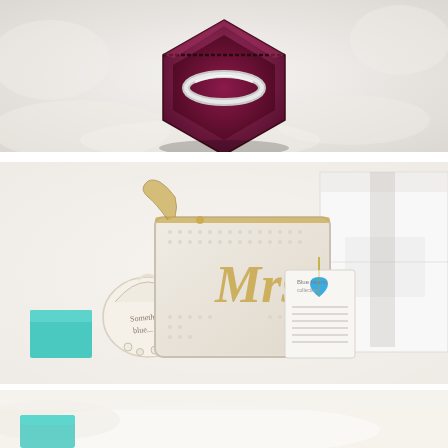[Figure (photo): Close-up photo of a silver wedding band ring inside an open burgundy velvet hexagonal ring box, placed on a white fluffy surface.]
[Figure (photo): Flat lay photo of bridal accessories including a white beaded 'Mrs' clutch purse, a small organza sachet bag, a teal gift box, a blue heart-shaped pendant necklace on a card, and a white gift box, arranged on a white surface.]
[Figure (photo): Partial close-up photo of a white fluffy surface with a hint of a teal/blue object at bottom left, cropped at the bottom of the page.]